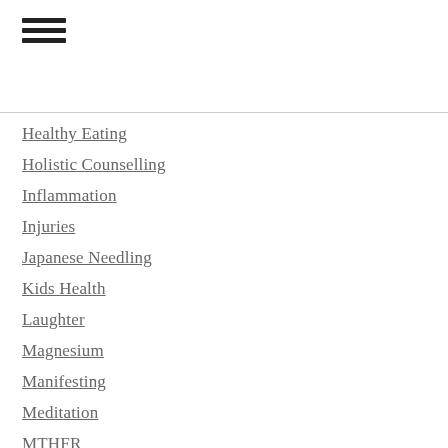Healthy Eating
Holistic Counselling
Inflammation
Injuries
Japanese Needling
Kids Health
Laughter
Magnesium
Manifesting
Meditation
MTHFR
Naturopathy
Neck Pain
Nutrition
Osteopathy
Pain